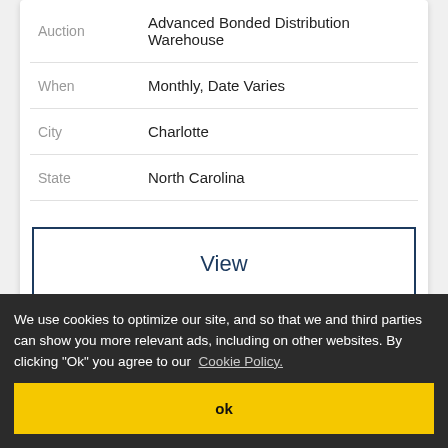| Field | Value |
| --- | --- |
| Auction | Advanced Bonded Distribution Warehouse |
| When | Monthly, Date Varies |
| City | Charlotte |
| State | North Carolina |
View
We use cookies to optimize our site, and so that we and third parties can show you more relevant ads, including on other websites. By clicking "Ok" you agree to our Cookie Policy.
ok